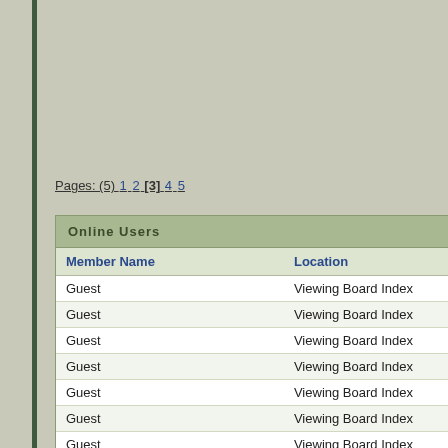Pages: (5) 1 2 [3] 4 5
| Member Name | Location |
| --- | --- |
| Guest | Viewing Board Index |
| Guest | Viewing Board Index |
| Guest | Viewing Board Index |
| Guest | Viewing Board Index |
| Guest | Viewing Board Index |
| Guest | Viewing Board Index |
| Guest | Viewing Board Index |
| Guest | Viewing Board Index |
| Guest | Viewing Board Index |
| Guest | Viewing Board Index |
| Guest | Viewing Board Index |
| Guest | Viewing Board Index |
| Guest | Viewing Board Index |
| Guest | Viewing Board Index |